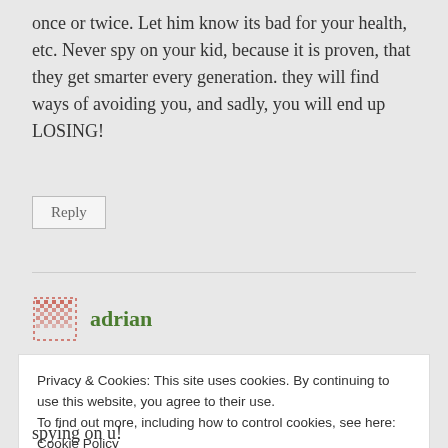once or twice. Let him know its bad for your health, etc. Never spy on your kid, because it is proven, that they get smarter every generation. they will find ways of avoiding you, and sadly, you will end up LOSING!
Reply
adrian
Privacy & Cookies: This site uses cookies. By continuing to use this website, you agree to their use.
To find out more, including how to control cookies, see here: Cookie Policy
Close and accept
spying on u!